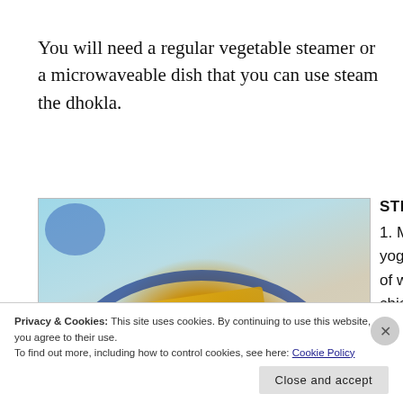You will need a regular vegetable steamer or a microwaveable dish that you can use steam the dhokla.
[Figure (photo): Photo of dhokla (yellow chickpea flour steamed cakes) served on a blue decorated plate with a small bowl of sauce, on a light speckled surface]
STEPS
1. Mix oil, yogurt, 50 ml of water, chickpea
Privacy & Cookies: This site uses cookies. By continuing to use this website, you agree to their use.
To find out more, including how to control cookies, see here: Cookie Policy